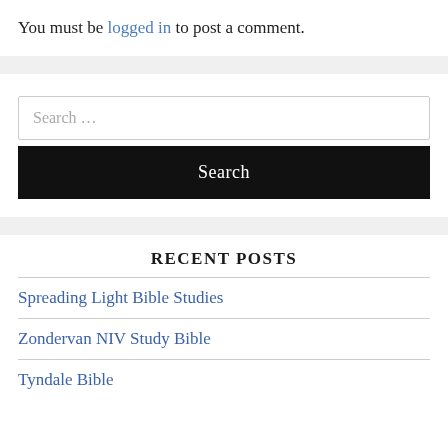You must be logged in to post a comment.
Search ...
Search
RECENT POSTS
Spreading Light Bible Studies
Zondervan NIV Study Bible
Tyndale Bible